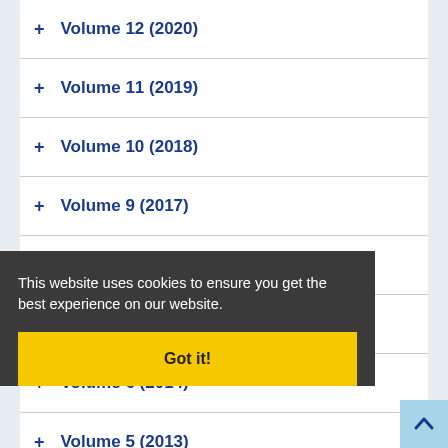+ Volume 12 (2020)
+ Volume 11 (2019)
+ Volume 10 (2018)
+ Volume 9 (2017)
+ Volume 8 (2016)
+ Volume 7 (2015)
+ Volume 6 (2014)
+ Volume 5 (2013)
+ Volume 3 (2011)
+ Volume 2 (2010)
+ Volume 1 (2009)
This website uses cookies to ensure you get the best experience on our website.
Got it!